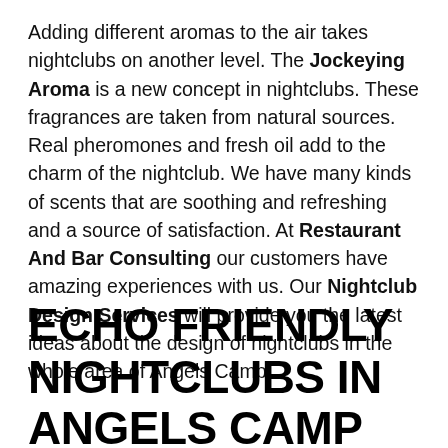Adding different aromas to the air takes nightclubs on another level. The Jockeying Aroma is a new concept in nightclubs. These fragrances are taken from natural sources. Real pheromones and fresh oil add to the charm of the nightclub. We have many kinds of scents that are soothing and refreshing and a source of satisfaction. At Restaurant And Bar Consulting our customers have amazing experiences with us. Our Nightclub Design Services will provide you the latest ideas about the design of nightclubs in the whole area of Angels Camp.
ECHO FRIENDLY NIGHTCLUBS IN ANGELS CAMP